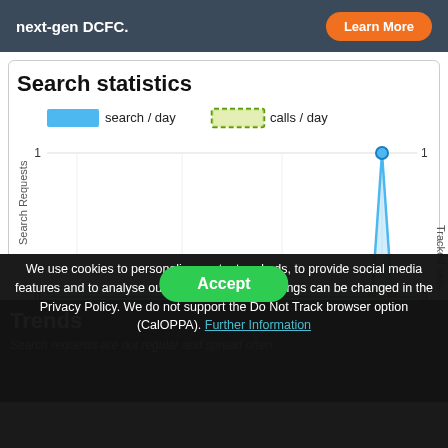next-gen DCFC.  Learn More
Search statistics
[Figure (line-chart): Search statistics]
Trends
Accept
We use cookies to personalise content and ads, to provide social media features and to analyse our traffic. Individual settings can be changed in the Privacy Policy. We do not support the Do Not Track browser option (CalOPPA). Further Information
Search requests are not regular and spread often